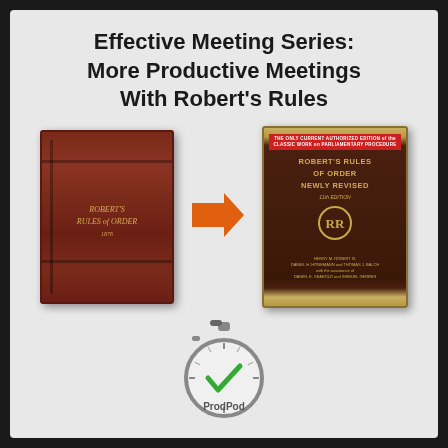Effective Meeting Series: More Productive Meetings With Robert's Rules
[Figure (illustration): Old red hardcover edition of Robert's Rules of Order on the left, an orange arrow pointing right in the middle, and the modern 11th edition of Robert's Rules of Order Newly Revised on the right. Below the books is a stopwatch icon with a green checkmark and the text 'ProdPod'.]